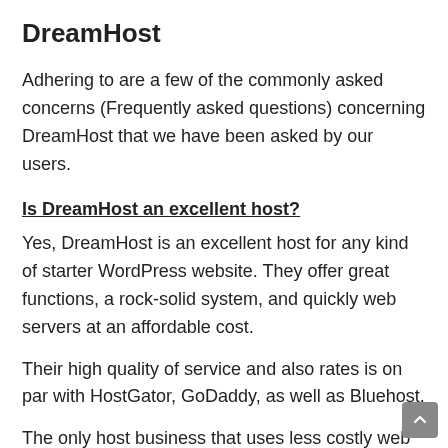DreamHost
Adhering to are a few of the commonly asked concerns (Frequently asked questions) concerning DreamHost that we have been asked by our users.
Is DreamHost an excellent host?
Yes, DreamHost is an excellent host for any kind of starter WordPress website. They offer great functions, a rock-solid system, and quickly web servers at an affordable cost.
Their high quality of service and also rates is on par with HostGator, GoDaddy, as well as Bluehost.
The only host business that uses less costly web hosting rates